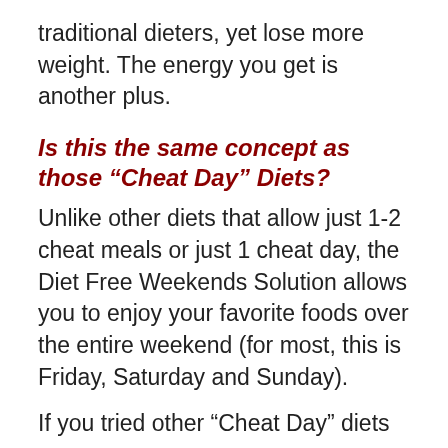traditional dieters, yet lose more weight. The energy you get is another plus.
Is this the same concept as those “Cheat Day” Diets?
Unlike other diets that allow just 1-2 cheat meals or just 1 cheat day, the Diet Free Weekends Solution allows you to enjoy your favorite foods over the entire weekend (for most, this is Friday, Saturday and Sunday).
If you tried other “Cheat Day” diets